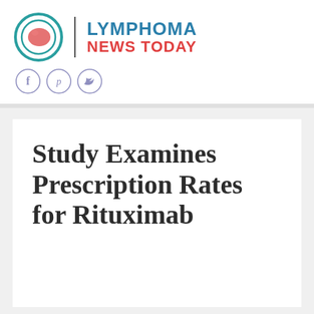[Figure (logo): Lymphoma News Today logo with circular icon, vertical divider, and text LYMPHOMA NEWS TODAY]
[Figure (other): Social media icons: Facebook, Pinterest, Twitter]
Study Examines Prescription Rates for Rituximab